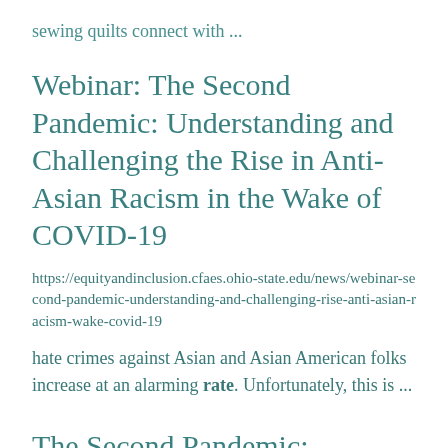sewing quilts connect with ...
Webinar: The Second Pandemic: Understanding and Challenging the Rise in Anti-Asian Racism in the Wake of COVID-19
https://equityandinclusion.cfaes.ohio-state.edu/news/webinar-second-pandemic-understanding-and-challenging-rise-anti-asian-racism-wake-covid-19
hate crimes against Asian and Asian American folks increase at an alarming rate. Unfortunately, this is ...
The Second Pandemic: